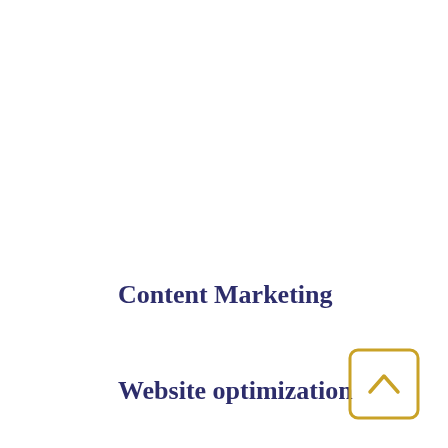Content Marketing
Website optimization
[Figure (other): A square button with a gold/yellow border containing an upward-pointing caret/chevron arrow, located in the bottom-right corner of the page.]